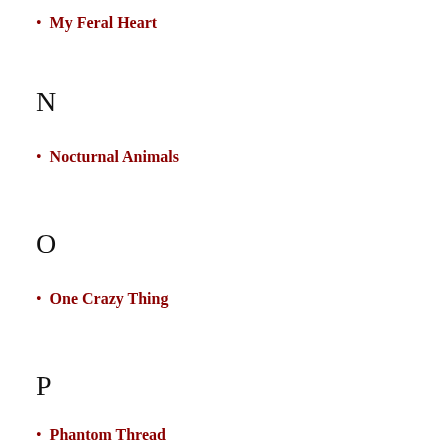My Feral Heart
N
Nocturnal Animals
O
One Crazy Thing
P
Phantom Thread